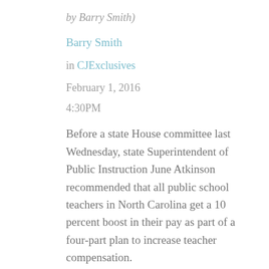by Barry Smith)
Barry Smith
in CJExclusives
February 1, 2016
4:30PM
Before a state House committee last Wednesday, state Superintendent of Public Instruction June Atkinson recommended that all public school teachers in North Carolina get a 10 percent boost in their pay as part of a four-part plan to increase teacher compensation.